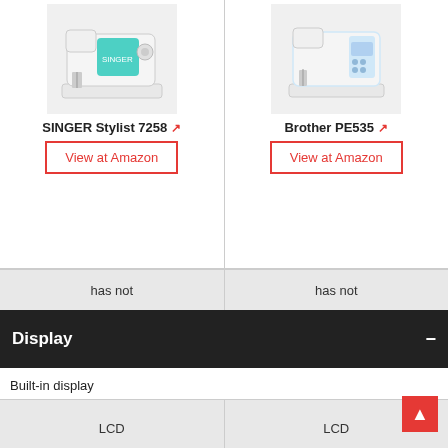[Figure (photo): SINGER Stylist 7258 sewing machine product image]
[Figure (photo): Brother PE535 sewing machine product image]
SINGER Stylist 7258
Brother PE535
View at Amazon
View at Amazon
| SINGER Stylist 7258 | Brother PE535 |
| --- | --- |
| has not | has not |
| Built-in display |  |
| ✓ | ✓ |
| Type |  |
| LCD | LCD |
Display